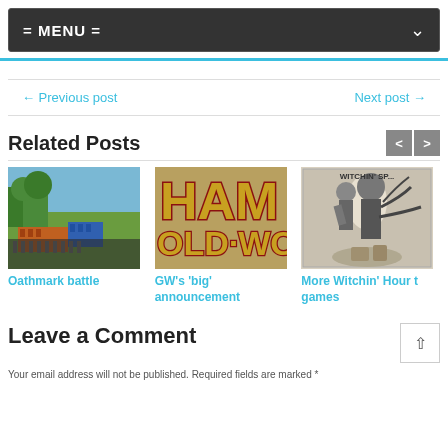= MENU =
← Previous post    Next post →
Related Posts
[Figure (photo): Miniature wargaming battle scene with colorful troops on a green terrain board]
Oathmark battle
[Figure (photo): Warhammer Old World logo text in gold/red lettering]
GW's 'big' announcement
[Figure (photo): Black and white illustration of fantasy characters, Witchin Hour tabletop games]
More Witchin' Hour tabletop games
Leave a Comment